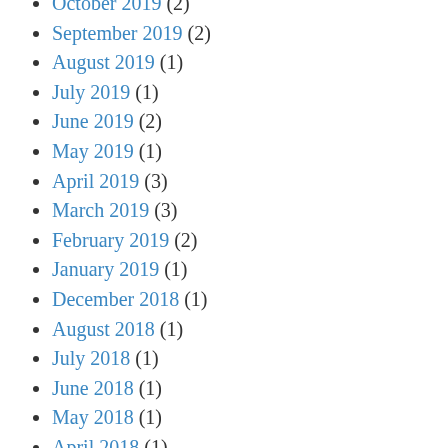October 2019 (2)
September 2019 (2)
August 2019 (1)
July 2019 (1)
June 2019 (2)
May 2019 (1)
April 2019 (3)
March 2019 (3)
February 2019 (2)
January 2019 (1)
December 2018 (1)
August 2018 (1)
July 2018 (1)
June 2018 (1)
May 2018 (1)
April 2018 (1)
March 2018 (2)